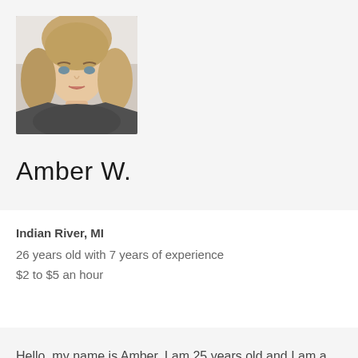[Figure (photo): Portrait photo of a young woman with blonde hair and blue/green eyes, wearing a dark gray shirt, selfie-style photo]
Amber W.
Indian River, MI
26 years old with 7 years of experience
$2 to $5 an hour
Hello, my name is Amber. I am 25 years old and I am a stay at home mom. I have 3 children, ages 6, 3 and 1. I